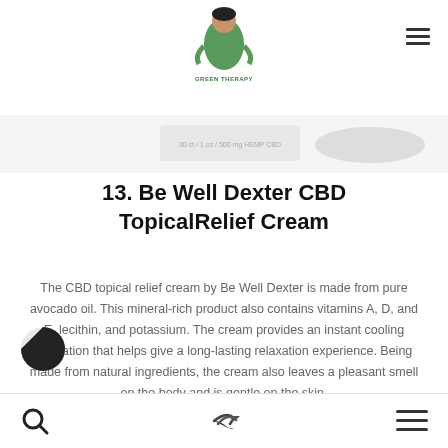[Figure (logo): Green Therapy logo with cartoon woman character in green outfit and 'GREEN THERAPY' text below]
[Figure (photo): Partial product image of Be Well Dexter CBD cream containers, white background]
13. Be Well Dexter CBD TopicalRelief Cream
The CBD topical relief cream by Be Well Dexter is made from pure avocado oil. This mineral-rich product also contains vitamins A, D, and E, lecithin, and potassium. The cream provides an instant cooling sensation that helps give a long-lasting relaxation experience. Being made from natural ingredients, the cream also leaves a pleasant smell on the body and is gentle on the skin.